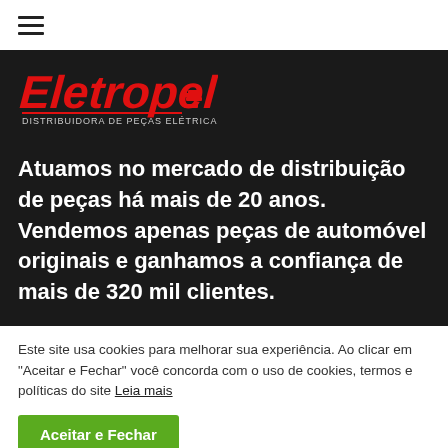[Figure (logo): Hamburger menu icon (three horizontal lines)]
[Figure (logo): Eletropel logo — red italic text 'Eletropel' with tagline 'DISTRIBUIDORA DE PEÇAS ELÉTRICAS' on dark background]
Atuamos no mercado de distribuição de peças há mais de 20 anos. Vendemos apenas peças de automóvel originais e ganhamos a confiança de mais de 320 mil clientes.
Este site usa cookies para melhorar sua experiência. Ao clicar em "Aceitar e Fechar" você concorda com o uso de cookies, termos e políticas do site Leia mais
Aceitar e Fechar